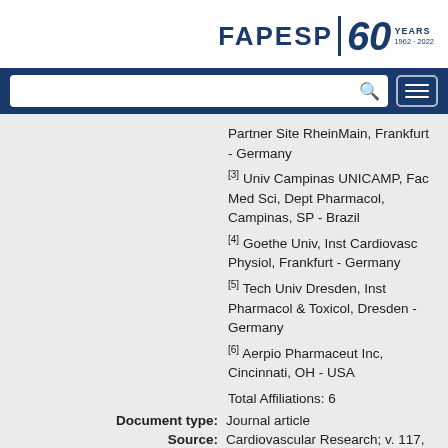[Figure (logo): FAPESP 60 YEARS 1962-2022 logo in dark blue]
[Figure (screenshot): Search bar with magnifying glass icon and hamburger menu button on dark blue background]
Partner Site RheinMain, Frankfurt - Germany
[3] Univ Campinas UNICAMP, Fac Med Sci, Dept Pharmacol, Campinas, SP - Brazil
[4] Goethe Univ, Inst Cardiovasc Physiol, Frankfurt - Germany
[5] Tech Univ Dresden, Inst Pharmacol & Toxicol, Dresden - Germany
[6] Aerpio Pharmaceut Inc, Cincinnati, OH - USA
Total Affiliations: 6
Document type: Journal article
Source: Cardiovascular Research; v. 117, n. 6, p. 1546-1556, JUL 1 2021